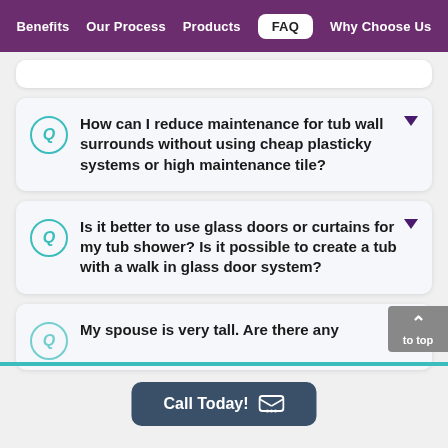Benefits | Our Process | Products | FAQ | Why Choose Us
How can I reduce maintenance for tub wall surrounds without using cheap plasticky systems or high maintenance tile?
Is it better to use glass doors or curtains for my tub shower? Is it possible to create a tub with a walk in glass door system?
My spouse is very tall. Are there any